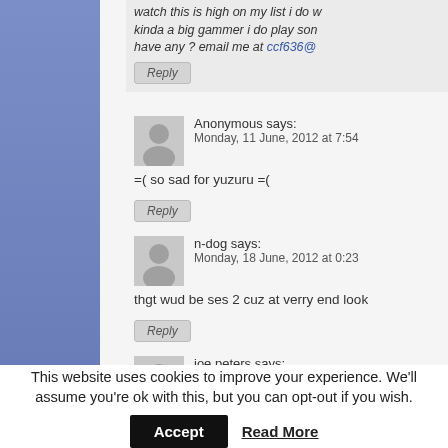watch this is high on my list i do w kinda a big gammer i do play son have any ? email me at ccf636@
Anonymous says:
Monday, 11 June, 2012 at 7:54
=( so sad for yuzuru =(
n-dog says:
Monday, 18 June, 2012 at 0:23
thgt wud be ses 2 cuz at verry end look
joe peters says:
Tuesday, 19 June, 2012 at 17:17
Why not come and have a look at this a
This website uses cookies to improve your experience. We'll assume you're ok with this, but you can opt-out if you wish.
Accept   Read More